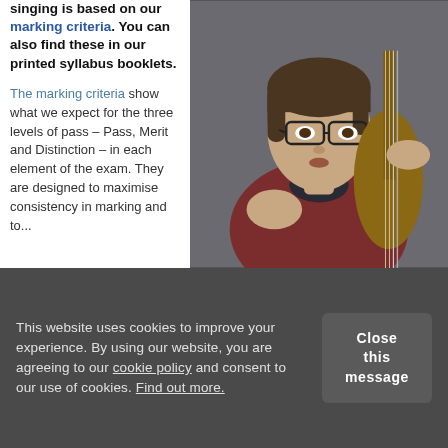singing is based on our marking criteria. You can also find these in our printed syllabus booklets.
[Figure (photo): Young man with glasses playing a double bass, wearing a dark red/maroon sweater]
The marking criteria show what we expect for the three levels of pass – Pass, Merit and Distinction – in each element of the exam. They are designed to maximise consistency in marking and to...
This website uses cookies to improve your experience. By using our website, you are agreeing to our cookie policy and consent to our use of cookies. Find out more.
Close this message